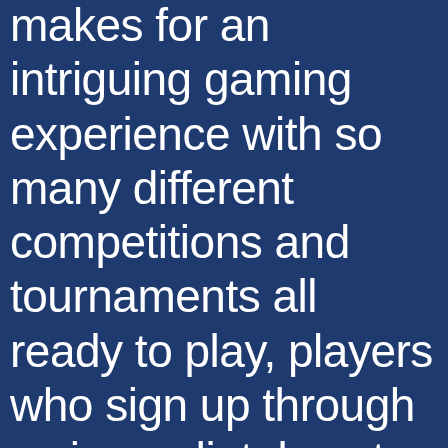makes for an intriguing gaming experience with so many different competitions and tournaments all ready to play, players who sign up through us immediately get access to the biggest bonuses. Slots of vegas casino online with real money review this means that once a casino dealer reaches a total of 18 through